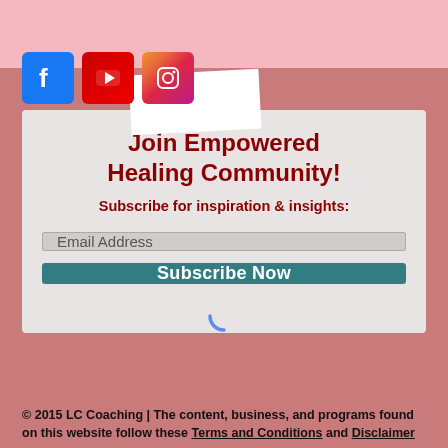[Figure (logo): Facebook, YouTube, and Instagram social media icons]
Join Empowered Healing Community!
Subscribe for inspiration & insights:
Email Address
Subscribe Now
© 2015 LC Coaching | The content, business, and programs found on this website follow these Terms and Conditions and Disclaimer